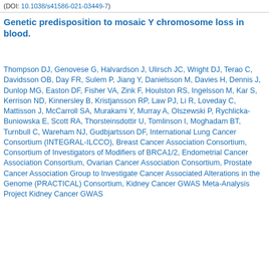(DOI: 10.1038/s41586-021-03449-7)
Genetic predisposition to mosaic Y chromosome loss in blood.
Thompson DJ, Genovese G, Halvardson J, Ulirsch JC, Wright DJ, Terao C, Davidsson OB, Day FR, Sulem P, Jiang Y, Danielsson M, Davies H, Dennis J, Dunlop MG, Easton DF, Fisher VA, Zink F, Houlston RS, Ingelsson M, Kar S, Kerrison ND, Kinnersley B, Kristjansson RP, Law PJ, Li R, Loveday C, Mattisson J, McCarroll SA, Murakami Y, Murray A, Olszewski P, Rychlicka-Buniowska E, Scott RA, Thorsteinsdottir U, Tomlinson I, Moghadam BT, Turnbull C, Wareham NJ, Gudbjartsson DF, International Lung Cancer Consortium (INTEGRAL-ILCCO), Breast Cancer Association Consortium, Consortium of Investigators of Modifiers of BRCA1/2, Endometrial Cancer Association Consortium, Ovarian Cancer Association Consortium, Prostate Cancer Association Group to Investigate Cancer Associated Alterations in the Genome (PRACTICAL) Consortium, Kidney Cancer GWAS Meta-Analysis Project Kidney Cancer GWAS